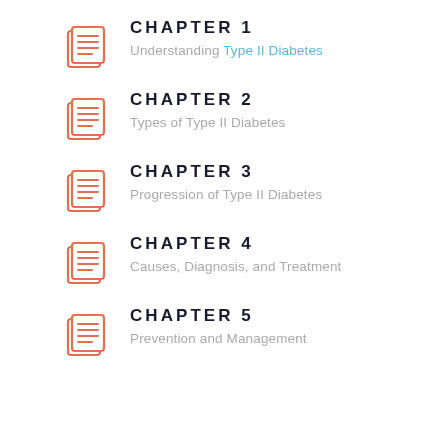CHAPTER 1 — Understanding Type II Diabetes
CHAPTER 2 — Types of Type II Diabetes
CHAPTER 3 — Progression of Type II Diabetes
CHAPTER 4 — Causes, Diagnosis, and Treatment
CHAPTER 5 — Prevention and Management